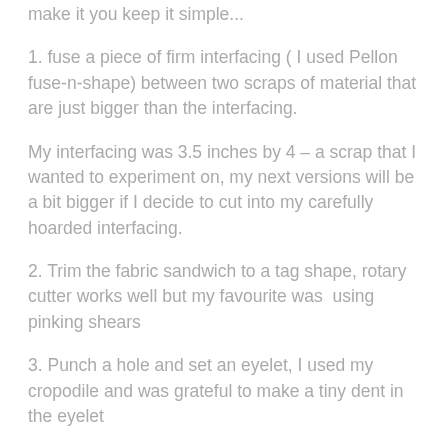make it you keep it simple...
1. fuse a piece of firm interfacing ( I used Pellon fuse-n-shape) between two scraps of material that are just bigger than the interfacing.
My interfacing was 3.5 inches by 4 – a scrap that I wanted to experiment on, my next versions will be a bit bigger if I decide to cut into my carefully hoarded interfacing.
2. Trim the fabric sandwich to a tag shape, rotary cutter works well but my favourite was  using pinking shears
3. Punch a hole and set an eyelet, I used my cropodile and was grateful to make a tiny dent in the eyelet